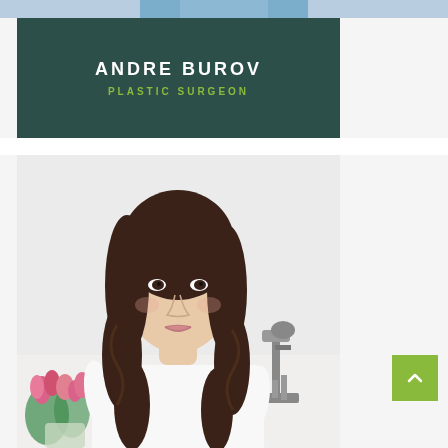[Figure (photo): Partial view of a person in blue clothing, cropped at top of page]
ANDRE BUROV
PLASTIC SURGEON
[Figure (photo): Young woman with long wavy dark brown hair wearing a white t-shirt, standing in a medical office with pink tulips and a microscope visible in the background]